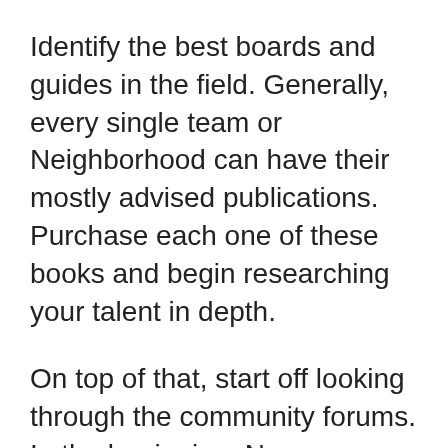Identify the best boards and guides in the field. Generally, every single team or Neighborhood can have their mostly advised publications. Purchase each one of these books and begin researching your talent in depth.
On top of that, start off looking through the community forums. In the beginning, Never participate. Just study. Look around what styles of challenges Some others are struggling with and what alternatives They are obtaining.
Kind the forum by the threads with quite possibly the most replies. These tend to be by far the most valuable threads. Go through via those post by